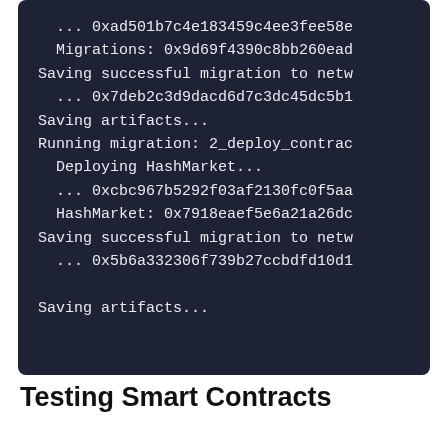[Figure (screenshot): Dark-themed terminal/console output showing blockchain migration commands and transaction hashes. Text includes lines about Migrations address, saving successful migration to network with tx hash, saving artifacts, running migration 2_deploy_contracts, deploying HashMarket with tx hash, HashMarket contract address, saving successful migration to network with tx hash, and saving artifacts.]
Testing Smart Contracts